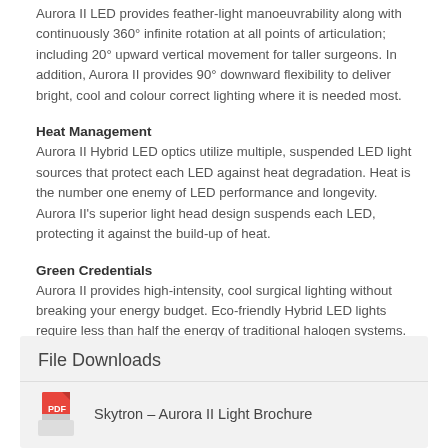Aurora II LED provides feather-light manoeuvrability along with continuously 360° infinite rotation at all points of articulation; including 20° upward vertical movement for taller surgeons. In addition, Aurora II provides 90° downward flexibility to deliver bright, cool and colour correct lighting where it is needed most.
Heat Management
Aurora II Hybrid LED optics utilize multiple, suspended LED light sources that protect each LED against heat degradation. Heat is the number one enemy of LED performance and longevity. Aurora II's superior light head design suspends each LED, protecting it against the build-up of heat.
Green Credentials
Aurora II provides high-intensity, cool surgical lighting without breaking your energy budget. Eco-friendly Hybrid LED lights require less than half the energy of traditional halogen systems. LEDs last a minimum of 10 years.
File Downloads
Skytron – Aurora II Light Brochure